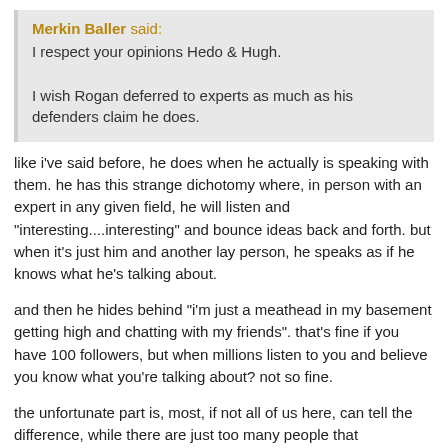Merkin Baller said: I respect your opinions Hedo & Hugh.

I wish Rogan deferred to experts as much as his defenders claim he does.
like i've said before, he does when he actually is speaking with them. he has this strange dichotomy where, in person with an expert in any given field, he will listen and "interesting....interesting" and bounce ideas back and forth. but when it's just him and another lay person, he speaks as if he knows what he's talking about.
and then he hides behind "i'm just a meathead in my basement getting high and chatting with my friends". that's fine if you have 100 followers, but when millions listen to you and believe you know what you're talking about? not so fine.
the unfortunate part is, most, if not all of us here, can tell the difference, while there are just too many people that don't/can't/won't.